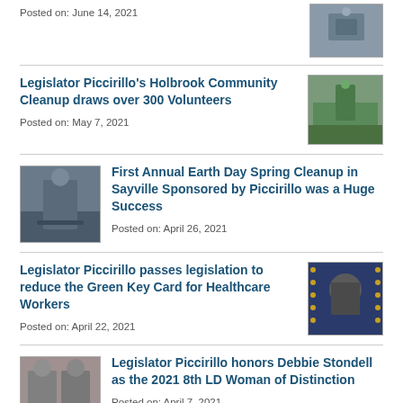Posted on: June 14, 2021
[Figure (photo): Person at podium with official seal]
Legislator Piccirillo's Holbrook Community Cleanup draws over 300 Volunteers
Posted on: May 7, 2021
[Figure (photo): Person outdoors doing cleanup]
[Figure (photo): Person in mask standing outside]
First Annual Earth Day Spring Cleanup in Sayville Sponsored by Piccirillo was a Huge Success
Posted on: April 26, 2021
Legislator Piccirillo passes legislation to reduce the Green Key Card for Healthcare Workers
Posted on: April 22, 2021
[Figure (photo): Man speaking at podium with gold seal backdrop]
[Figure (photo): Two people posing with document]
Legislator Piccirillo honors Debbie Stondell as the 2021 8th LD Woman of Distinction
Posted on: April 7, 2021
Legislator Piccirillo announces the 2nd
[Figure (photo): Colorful graphic with text about Suffolk County]